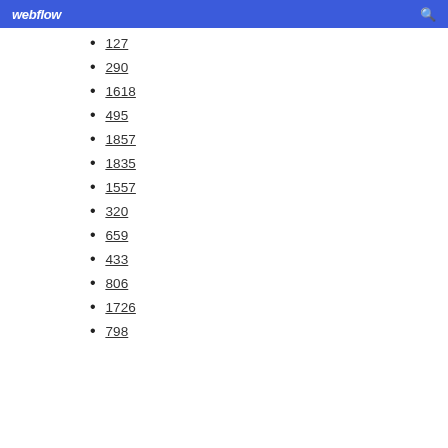webflow
127
290
1618
495
1857
1835
1557
320
659
433
806
1726
798